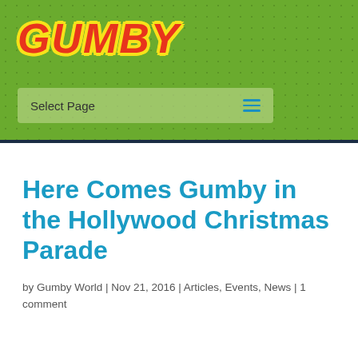[Figure (logo): Gumby logo in red italic bold text with yellow outline on green dotted background header]
Select Page
Here Comes Gumby in the Hollywood Christmas Parade
by Gumby World | Nov 21, 2016 | Articles, Events, News | 1 comment